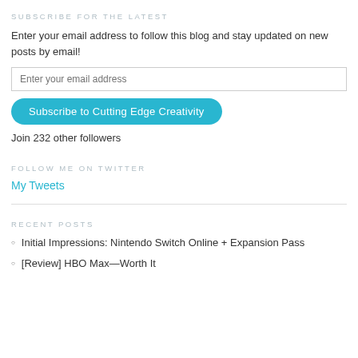SUBSCRIBE FOR THE LATEST
Enter your email address to follow this blog and stay updated on new posts by email!
Join 232 other followers
FOLLOW ME ON TWITTER
My Tweets
RECENT POSTS
Initial Impressions: Nintendo Switch Online + Expansion Pass
[Review] HBO Max—Worth It